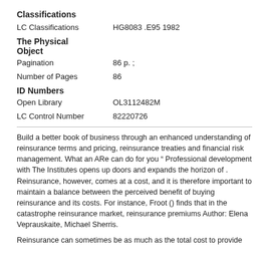Classifications
LC Classifications    HG8083 .E95 1982
The Physical Object
Pagination    86 p. ;
Number of Pages    86
ID Numbers
Open Library    OL3112482M
LC Control Number    82220726
Build a better book of business through an enhanced understanding of reinsurance terms and pricing, reinsurance treaties and financial risk management. What an ARe can do for you “ Professional development with The Institutes opens up doors and expands the horizon of . Reinsurance, however, comes at a cost, and it is therefore important to maintain a balance between the perceived benefit of buying reinsurance and its costs. For instance, Froot () finds that in the catastrophe reinsurance market, reinsurance premiums Author: Elena Veprauskaite, Michael Sherris.
Reinsurance can sometimes be as much as the total cost to provide